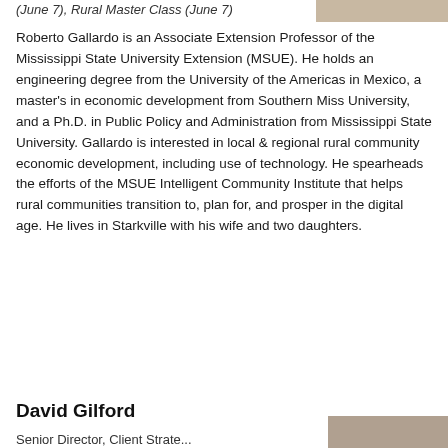(June 7), Rural Master Class (June 7)
[Figure (photo): Partial photo of a person, upper right corner]
Roberto Gallardo is an Associate Extension Professor of the Mississippi State University Extension (MSUE). He holds an engineering degree from the University of the Americas in Mexico, a master's in economic development from Southern Miss University, and a Ph.D. in Public Policy and Administration from Mississippi State University. Gallardo is interested in local & regional rural community economic development, including use of technology. He spearheads the efforts of the MSUE Intelligent Community Institute that helps rural communities transition to, plan for, and prosper in the digital age. He lives in Starkville with his wife and two daughters.
Back to top
David Gilford
Senior Director, Client Strategy...